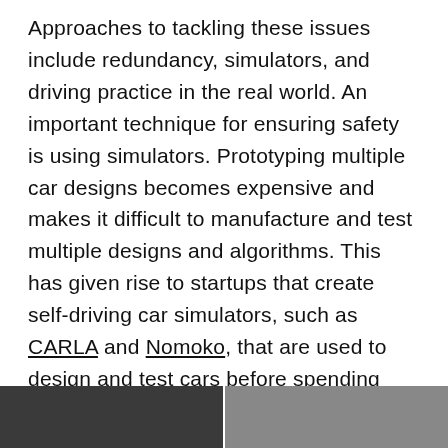Approaches to tackling these issues include redundancy, simulators, and driving practice in the real world. An important technique for ensuring safety is using simulators. Prototyping multiple car designs becomes expensive and makes it difficult to manufacture and test multiple designs and algorithms. This has given rise to startups that create self-driving car simulators, such as CARLA and Nomoko, that are used to design and test cars before spending millions of dollars to even manufacture a prototype. Simulators are also used to generate data to train the car. Millions of crash scenarios and weather conditions are generated and tested digitally without any need to drive through Minnesota in February.
[Figure (photo): Partial photo strip at the bottom of the page showing what appears to be car/driving related imagery, partially cropped]